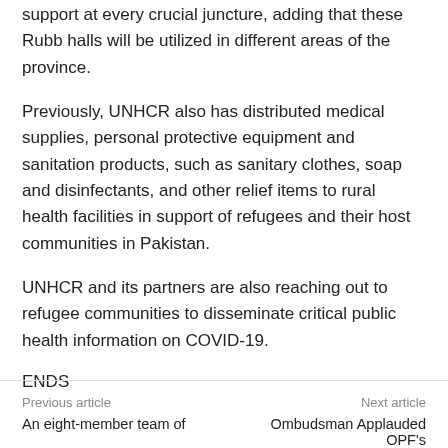support at every crucial juncture, adding that these Rubb halls will be utilized in different areas of the province.
Previously, UNHCR also has distributed medical supplies, personal protective equipment and sanitation products, such as sanitary clothes, soap and disinfectants, and other relief items to rural health facilities in support of refugees and their host communities in Pakistan.
UNHCR and its partners are also reaching out to refugee communities to disseminate critical public health information on COVID-19.
ENDS
Previous article | Next article | An eight-member team of ... | Ombudsman Applauded OPF's ...